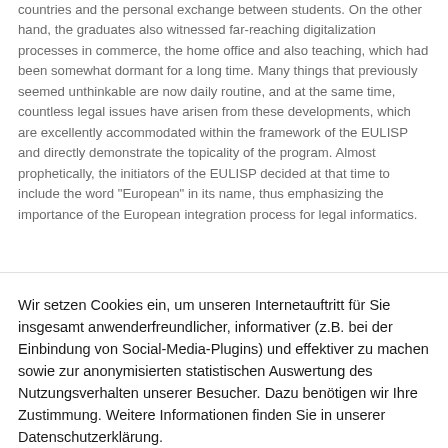countries and the personal exchange between students. On the other hand, the graduates also witnessed far-reaching digitalization processes in commerce, the home office and also teaching, which had been somewhat dormant for a long time. Many things that previously seemed unthinkable are now daily routine, and at the same time, countless legal issues have arisen from these developments, which are excellently accommodated within the framework of the EULISP and directly demonstrate the topicality of the program. Almost prophetically, the initiators of the EULISP decided at that time to include the word "European" in its name, thus emphasizing the importance of the European integration process for legal informatics.
Wir setzen Cookies ein, um unseren Internetauftritt für Sie insgesamt anwenderfreundlicher, informativer (z.B. bei der Einbindung von Social-Media-Plugins) und effektiver zu machen sowie zur anonymisierten statistischen Auswertung des Nutzungsverhalten unserer Besucher. Dazu benötigen wir Ihre Zustimmung. Weitere Informationen finden Sie in unserer Datenschutzerklärung.
Cookie settings
Zustimmen